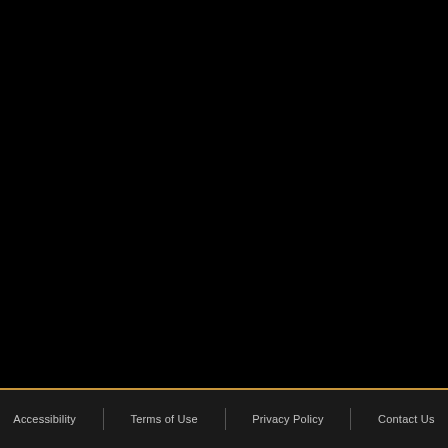[Figure (other): Accessibility widget panel with contrast toggle button (half-filled circle icon) and text resize button (tT icon), displayed on a white/light gray card on a black background]
Accessibility   Terms of Use   Privacy Policy   Contact Us